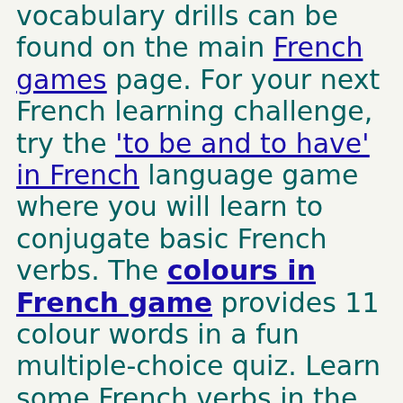vocabulary drills can be found on the main French games page. For your next French learning challenge, try the 'to be and to have' in French language game where you will learn to conjugate basic French verbs. The colours in French game provides 11 colour words in a fun multiple-choice quiz. Learn some French verbs in the infinitive for with the verbs in French game, a fun and engaging French learning activity with 17 crucial new French words. Go to the French games for vocabulary practice index page for a range of French vocabulary learning activities covering subjects such as the French colors, French verbs, French food